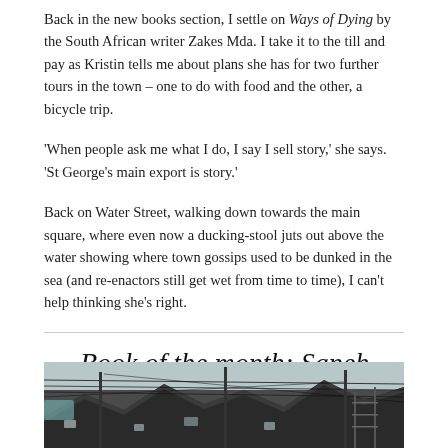Back in the new books section, I settle on Ways of Dying by the South African writer Zakes Mda. I take it to the till and pay as Kristin tells me about plans she has for two further tours in the town – one to do with food and the other, a bicycle trip.
'When people ask me what I do, I say I sell story,' she says. 'St George's main export is story.'
Back on Water Street, walking down towards the main square, where even now a ducking-stool juts out above the water showing where town gossips used to be dunked in the sea (and re-enactors still get wet from time to time), I can't help thinking she's right.
Book of the month: Saneh Sangsuk
January 26, 2016  By  Ann Morgan   in Asia, Book of the Month   Tags:  book review, books, culture, review, Saneh Sangsuk, Thailand, translation   3 Comments
[Figure (photo): Photograph of rooftops and utility lines in what appears to be a Thai urban street scene]